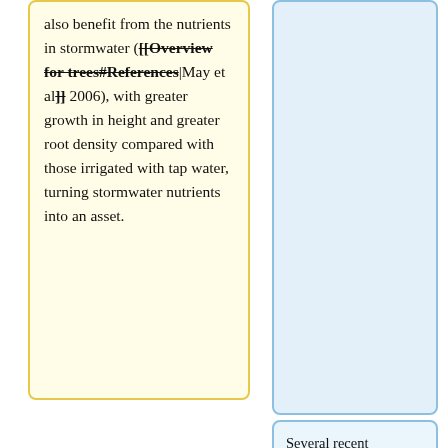also benefit from the nutrients in stormwater ([[Overview for trees#References|May et al]] 2006), with greater growth in height and greater root density compared with those irrigated with tap water, turning stormwater nutrients into an asset.
Several recent literature reviews of lab and field studies concluded that tree BMPs have the potential to be one of the most effective BMPs for pollutant removal. High load reductions are consistently found for suspended solids, metals, <span title="A class of chemicals that occur naturally in coal, crude oil, and gasoline